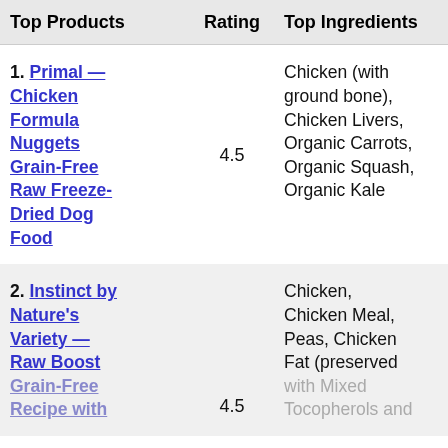| Top Products | Rating | Top Ingredients |
| --- | --- | --- |
| 1. Primal — Chicken Formula Nuggets Grain-Free Raw Freeze-Dried Dog Food | 4.5 | Chicken (with ground bone), Chicken Livers, Organic Carrots, Organic Squash, Organic Kale |
| 2. Instinct by Nature's Variety — Raw Boost Grain-Free Recipe with | 4.5 | Chicken, Chicken Meal, Peas, Chicken Fat (preserved with Mixed Tocopherols and |